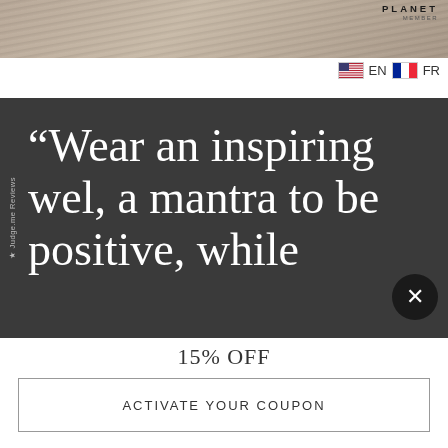[Figure (photo): Website header with animal fur background, PLANET logo badge on the right]
EN   FR
[Figure (screenshot): Dark panel overlay with large serif white quote text: "Wear an inspiring wel, a mantra to be positive, while" with side label ★Judge.me Reviews and a close X button]
15% OFF
ACTIVATE YOUR COUPON